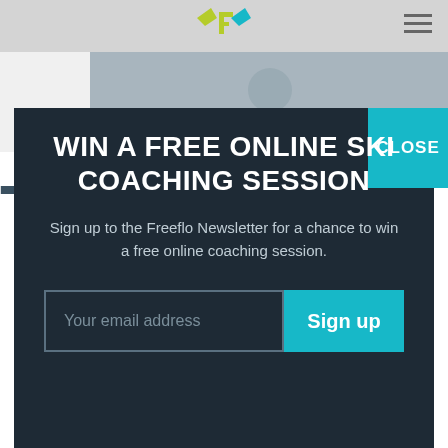[Figure (logo): Freeflo logo — yellow/green wing-chevron marks with stylized 'F' letterforms in yellow-green on grey nav bar]
[Figure (photo): Partial background photo of skier on slope, faded into grey]
CLOSE
WIN A FREE ONLINE SKI COACHING SESSION
Sign up to the Freeflo Newsletter for a chance to win a free online coaching session.
Your email address
Sign up